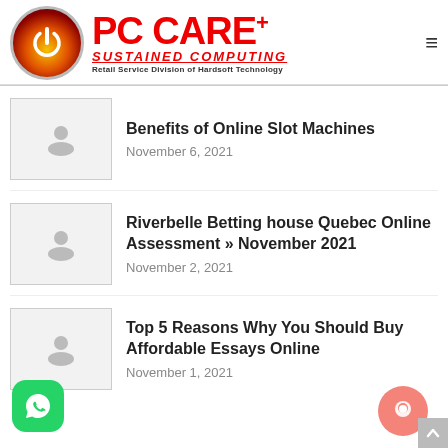[Figure (logo): PC CARE+ logo with power button icon, red text, SUSTAINED COMPUTING subtitle, Retail Service Division of Hardsoft Technology]
Benefits of Online Slot Machines
November 6, 2021
Riverbelle Betting house Quebec Online Assessment » November 2021
November 2, 2021
Top 5 Reasons Why You Should Buy Affordable Essays Online
November 1, 2021